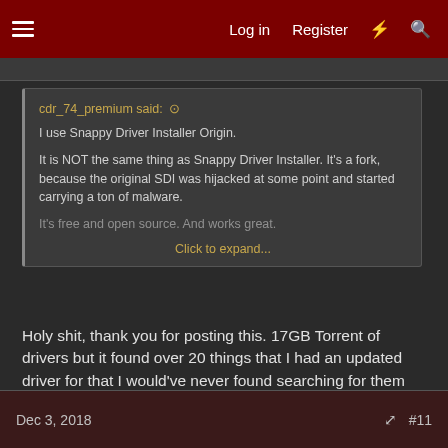Log in  Register  #11
cdr_74_premium said: ↑

I use Snappy Driver Installer Origin.

It is NOT the same thing as Snappy Driver Installer. It's a fork, because the original SDI was hijacked at some point and started carrying a ton of malware.

It's free and open source. And works great.

Click to expand...
Holy shit, thank you for posting this. 17GB Torrent of drivers but it found over 20 things that I had an updated driver for that I would've never found searching for them individually, you sir get a gold star.
Dec 3, 2018  #11